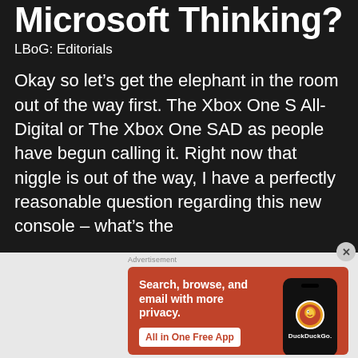Microsoft Thinking?
LBoG: Editorials
Okay so let's get the elephant in the room out of the way first. The Xbox One S All-Digital or The Xbox One SAD as people have begun calling it. Right now that niggle is out of the way, I have a perfectly reasonable question regarding this new console – what's the
[Figure (advertisement): DuckDuckGo advertisement banner with orange background. Text: 'Search, browse, and email with more privacy. All in One Free App'. Shows a phone with DuckDuckGo logo.]